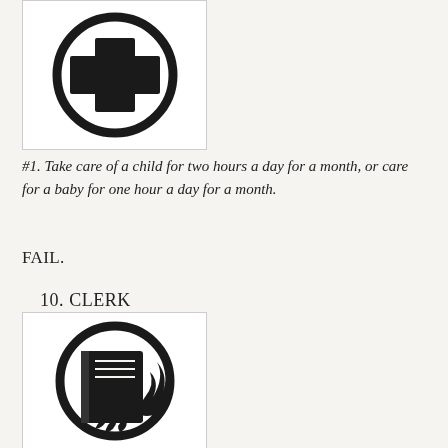[Figure (illustration): A black circle containing a bold cross/plus sign (medical cross symbol), printed in black on white background, bordered by a thin rectangle frame.]
#1. Take care of a child for two hours a day for a month, or care for a baby for one hour a day for a month.
FAIL.
10. CLERK
[Figure (illustration): A black circle containing an open book with flames or feathers coming from it, printed in black on white background, bordered by a thin rectangle frame.]